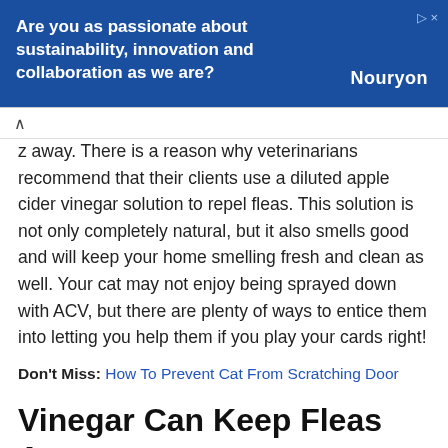[Figure (other): Advertisement banner for Nouryon with blue background. Text reads: 'Are you as passionate about sustainability, innovation and collaboration as we are?' and shows the Nouryon logo.]
z away. There is a reason why veterinarians recommend that their clients use a diluted apple cider vinegar solution to repel fleas. This solution is not only completely natural, but it also smells good and will keep your home smelling fresh and clean as well. Your cat may not enjoy being sprayed down with ACV, but there are plenty of ways to entice them into letting you help them if you play your cards right!
Don't Miss: How To Prevent Cat From Scratching Door
Vinegar Can Keep Fleas Away
Vinegar, when used properly, can keep fleas away due to its